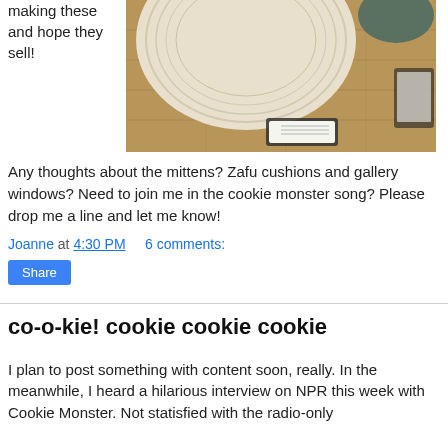making these and hope they sell!
[Figure (photo): Photo of knitted/crocheted cushion or pouf on wooden floor with a small price tag label visible beneath it, and another item partially visible in the background.]
Any thoughts about the mittens? Zafu cushions and gallery windows? Need to join me in the cookie monster song? Please drop me a line and let me know!
Joanne at 4:30 PM    6 comments:
Share
co-o-kie! cookie cookie cookie
I plan to post something with content soon, really. In the meanwhile, I heard a hilarious interview on NPR this week with Cookie Monster. Not statisfied with the radio-only